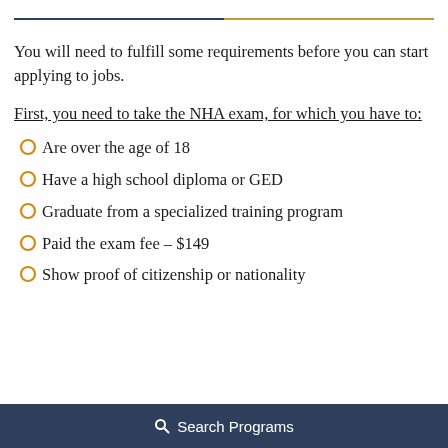You will need to fulfill some requirements before you can start applying to jobs.
First, you need to take the NHA exam, for which you have to:
Are over the age of 18
Have a high school diploma or GED
Graduate from a specialized training program
Paid the exam fee – $149
Show proof of citizenship or nationality
Search Programs